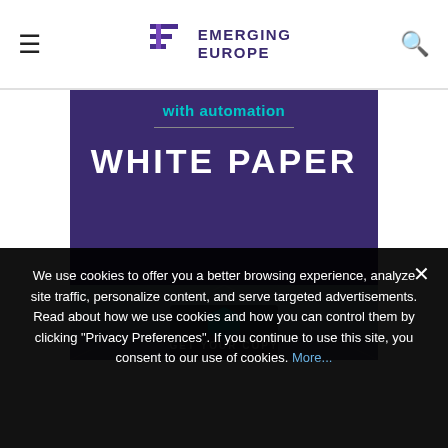EMERGING EUROPE
[Figure (screenshot): Purple banner showing 'with automation' in teal, a horizontal divider, and 'WHITE PAPER' in large white bold text on a dark purple background, with a photo of hands holding a tablet below]
We use cookies to offer you a better browsing experience, analyze site traffic, personalize content, and serve targeted advertisements. Read about how we use cookies and how you can control them by clicking "Privacy Preferences". If you continue to use this site, you consent to our use of cookies. More...